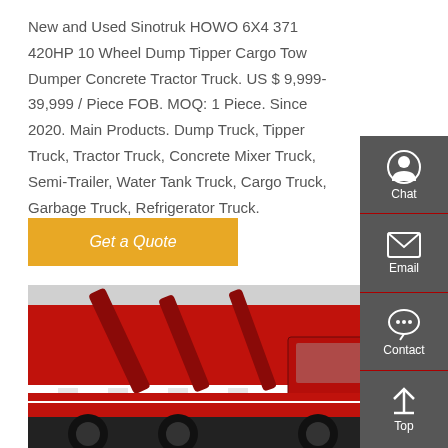New and Used Sinotruk HOWO 6X4 371 420HP 10 Wheel Dump Tipper Cargo Tow Dumper Concrete Tractor Truck. US $ 9,999-39,999 / Piece FOB. MOQ: 1 Piece. Since 2020. Main Products. Dump Truck, Tipper Truck, Tractor Truck, Concrete Mixer Truck, Semi-Trailer, Water Tank Truck, Cargo Truck, Garbage Truck, Refrigerator Truck.
[Figure (other): Orange 'Get a Quote' button]
[Figure (photo): Close-up photo of red and white dump trucks/tipper trucks, showing the side panels, hydraulic arms, and wheels of large commercial vehicles.]